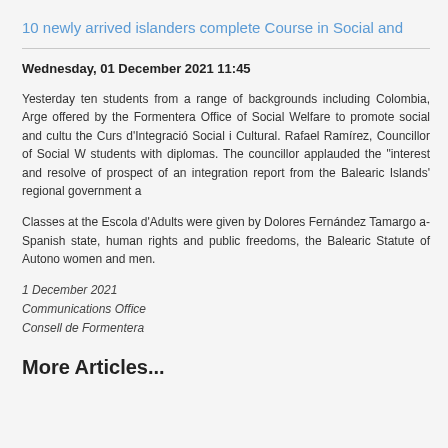10 newly arrived islanders complete Course in Social and
Wednesday, 01 December 2021 11:45
Yesterday ten students from a range of backgrounds including Colombia, Arge... offered by the Formentera Office of Social Welfare to promote social and cultu... the Curs d'Integració Social i Cultural. Rafael Ramírez, Councillor of Social W... students with diplomas. The councillor applauded the "interest and resolve of... prospect of an integration report from the Balearic Islands' regional government a...
Classes at the Escola d'Adults were given by Dolores Fernández Tamargo a... Spanish state, human rights and public freedoms, the Balearic Statute of Autono... women and men.
1 December 2021
Communications Office
Consell de Formentera
More Articles...